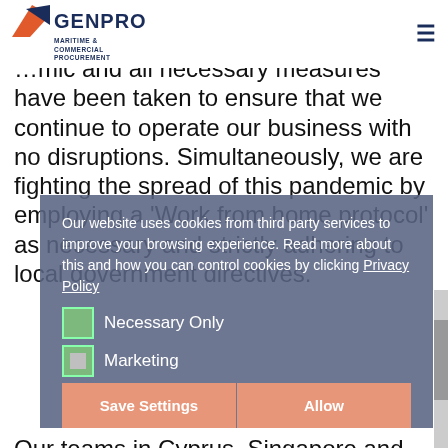GENPRO MARITIME & COMMERCIAL PROCUREMENT
…mic and all necessary measures have been taken to ensure that we continue to operate our business with no disruptions. Simultaneously, we are fighting the spread of this pandemic by employing a 'Work from home protocol' as necessary and strictly adhering to local government directives.
Our teams in Cyprus, Singapore and India remain available and are at your disposal. It is of utmost importance that we stay connected and maintain our close communication during these challenging times.
Our website uses cookies from third party services to improve your browsing experience. Read more about this and how you can control cookies by clicking Privacy Policy
Necessary Only
Marketing
Save Settings | Allow
In view of these developments, we wish to be in a position to mitigate risks, for and on behalf of our Members, and to be able to advise our Members in case of any disruptions to the